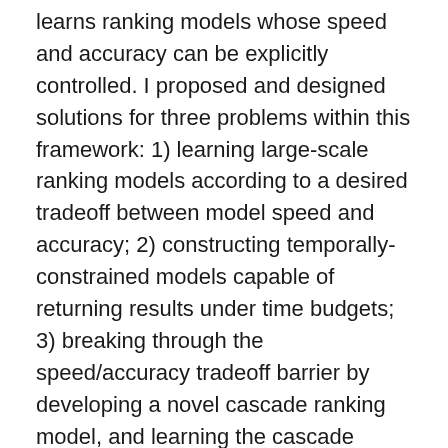learns ranking models whose speed and accuracy can be explicitly controlled. I proposed and designed solutions for three problems within this framework: 1) learning large-scale ranking models according to a desired tradeoff between model speed and accuracy; 2) constructing temporally-constrained models capable of returning results under time budgets; 3) breaking through the speed/accuracy tradeoff barrier by developing a novel cascade ranking model, and learning the cascade model structure and parameters with a novel boosting-based learning algorithm. My research extends the conventional effectiveness-centric approach in model learning and takes an efficiency-minded look at building effective retrieval models. Results show that models learned this way significantly outperform traditional machine-learned models in terms of speed without sacrificing result effectiveness. Moreover, the new models work particularly well when